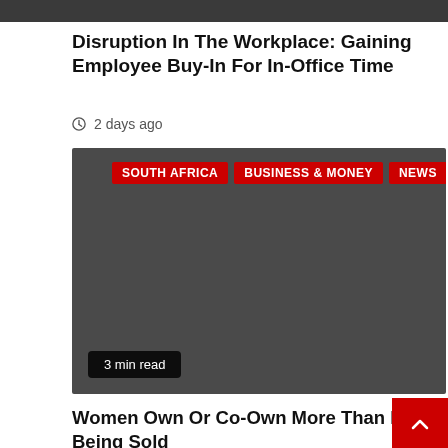[Figure (photo): Top portion of an article image, partially cropped — dark scene with silhouettes]
Disruption In The Workplace: Gaining Employee Buy-In For In-Office Time
2 days ago
[Figure (other): Dark card image with category tags: SOUTH AFRICA, BUSINESS & MONEY, NEWS and a '3 min read' badge]
Women Own Or Co-Own More Than Half Of SA's Homes And Are Buying A Third Of The Cars Being Sold